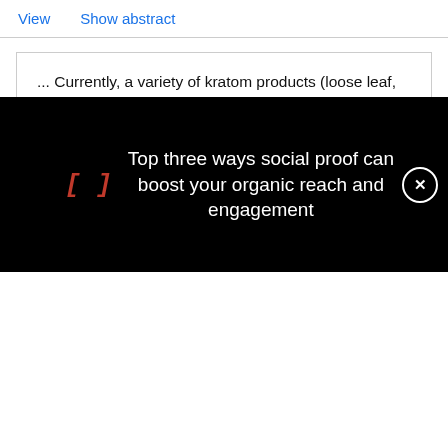View   Show abstract
... Currently, a variety of kratom products (loose leaf, powder, capsules, concentrate) can be legally purchased from online retailers, smoke shops, convenience stores, and specialty supplement shops in 46 US states (Griffin et al., 2016;Fowble and Musah, 2019). Exploratory surveys in the US seeking to better understand kratom use, motivations, and effects have found that many people report using kratom to "self-manage" chronic
[Figure (other): Black overlay advertisement showing '[J]' in red monospace font and text 'Top three ways social proof can boost your organic reach and engagement' with a close button]
[Figure (logo): Applied Biosystems logo - infinity symbol on blue background]
Free T-Shirt anyone?